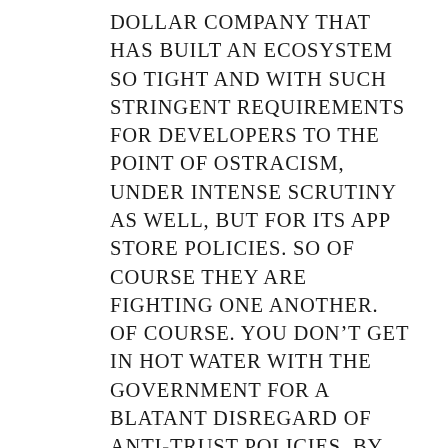dollar company that has built an ecosystem so tight and with such stringent requirements for developers to the point of ostracism, under intense scrutiny as well, but for its App Store policies. So of course they are fighting one another. Of course. You don't get in hot water with the government for a blatant disregard of anti-trust policies, by actually giving a "damn" about the consumer. Because taking the time to examine these policies and try to reform them, would be too much like, uh, RIGHT. Let's just